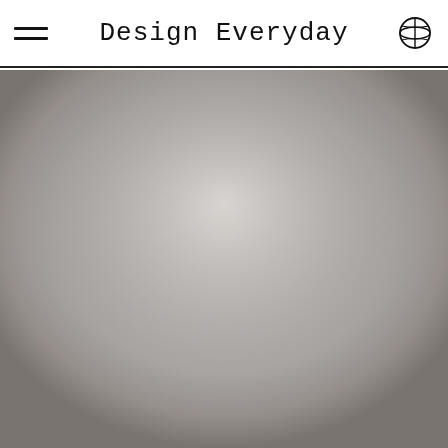Design Everyday
[Figure (photo): Large hero image with a gray metallic gradient background, lighter in the center and darker toward the edges, filling most of the page below the header.]